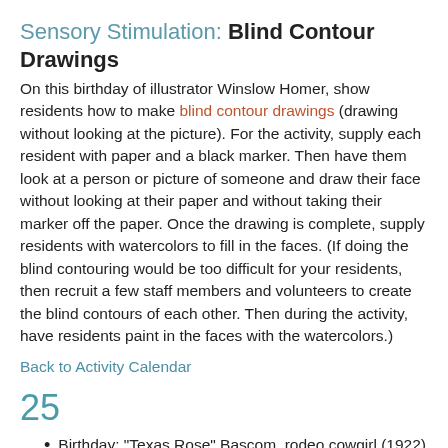Sensory Stimulation: Blind Contour Drawings
On this birthday of illustrator Winslow Homer, show residents how to make blind contour drawings (drawing without looking at the picture). For the activity, supply each resident with paper and a black marker. Then have them look at a person or picture of someone and draw their face without looking at their paper and without taking their marker off the paper. Once the drawing is complete, supply residents with watercolors to fill in the faces. (If doing the blind contouring would be too difficult for your residents, then recruit a few staff members and volunteers to create the blind contours of each other. Then during the activity, have residents paint in the faces with the watercolors.)
Back to Activity Calendar
25
Birthday: "Texas Rose" Bascom, rodeo cowgirl (1922)
Sensory Stimulation: Blind Contour Drawing (February 25...